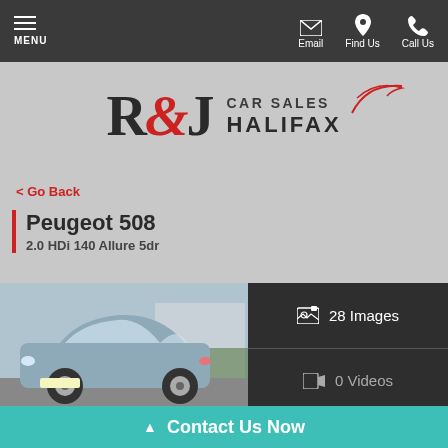MENU | Email | Find Us | Call Us
[Figure (logo): R&J Car Sales Halifax logo with car silhouette swoosh]
< Go Back
Peugeot 508
2.0 HDi 140 Allure 5dr
[Figure (photo): Photo of a silver-blue Peugeot 508 estate car parked in a yard]
28 Images
0 Videos
Contact Us Now